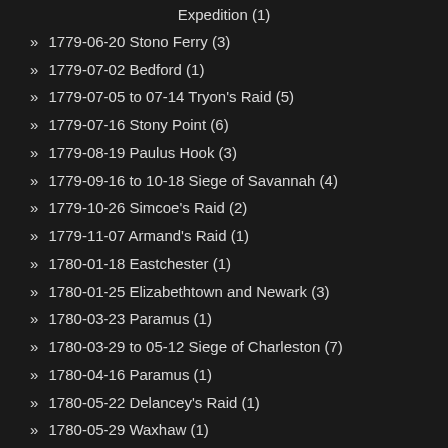Expedition (1)
» 1779-06-20 Stono Ferry (3)
» 1779-07-02 Bedford (1)
» 1779-07-05 to 07-14 Tryon's Raid (5)
» 1779-07-16 Stony Point (6)
» 1779-08-19 Paulus Hook (3)
» 1779-09-16 to 10-18 Siege of Savannah (4)
» 1779-10-26 Simcoe's Raid (2)
» 1779-11-07 Armand's Raid (1)
» 1780-01-18 Eastchester (1)
» 1780-01-25 Elizabethtown and Newark (3)
» 1780-03-23 Paramus (1)
» 1780-03-29 to 05-12 Siege of Charleston (7)
» 1780-04-16 Paramus (1)
» 1780-05-22 Delancey's Raid (1)
» 1780-05-29 Waxhaw (1)
» 1780-06-07 Connecticut Farms (2)
» 1780-06-23 Springfield (1)
» 1780-07-19 Bergen Blockhouse (1)
» 1780-08-16 Camden (13)